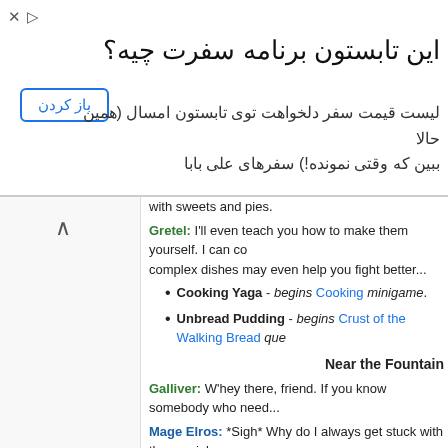[Figure (screenshot): Advertisement banner in Persian/Farsi asking about summer travel plans, with a blue 'باز کردن' button.]
with sweets and pies.
Gretel: I'll even teach you how to make them yourself. I can co... complex dishes may even help you fight better...
Cooking Yaga - begins Cooking minigame.
Unbread Pudding - begins Crust of the Walking Bread que...
Near the Fountain
Galliver: W'hey there, friend. If you know somebody who need...
Mage Elros: *Sigh* Why do I always get stuck with the menial... shield could be doing this while I study spells.
Trinki Bell: Capes and wings! Necklaces! Rings! Come and be...
Capes and Wings - opens Trinki's Rings shop.
Rings and Necklaces - opens Trinki's Wings shop.
Southern Section
Near the Bridge
Merchant Cyan: Ahh, I love this town. Every time I head to Oa... here.